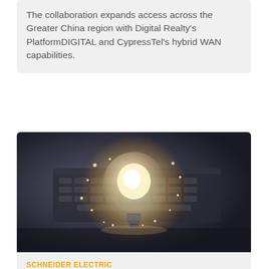The collaboration expands access across the Greater China region with Digital Realty's PlatformDIGITAL and CypressTel's hybrid WAN capabilities.
[Figure (photo): A glowing light bulb with bokeh sparkles sitting in front of a laptop keyboard on a dark surface, representing innovation and technology.]
SCHNEIDER ELECTRIC
Schneider Electric University adds new courses to lineup
The new updates include